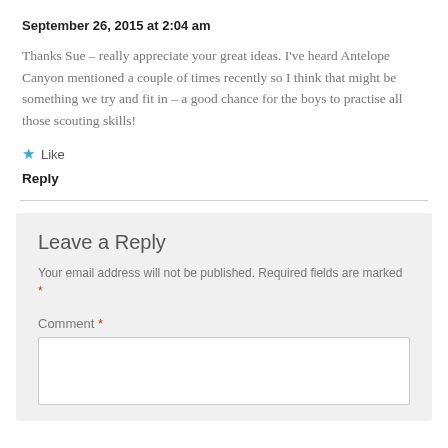September 26, 2015 at 2:04 am
Thanks Sue – really appreciate your great ideas. I've heard Antelope Canyon mentioned a couple of times recently so I think that might be something we try and fit in – a good chance for the boys to practise all those scouting skills!
★ Like
Reply
Leave a Reply
Your email address will not be published. Required fields are marked *
Comment *